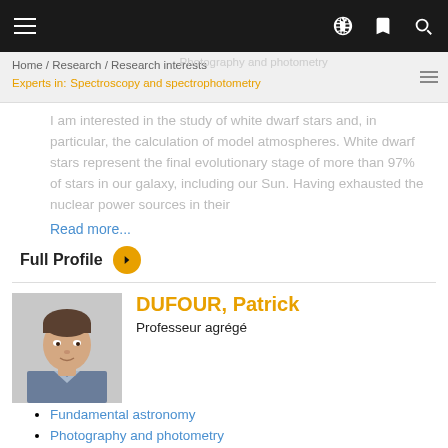Home / Research / Research interests / Experts in: Spectroscopy and spectrophotometry
I am interested in the study of white dwarf stars and, in particular, the calculation of model atmospheres. White dwarf stars represent the final evolutionary stage of more than 97% of stars in our galaxy, including our Sun. Having exhausted the nuclear power sources in their
Read more...
Full Profile
DUFOUR, Patrick
Professeur agrégé
Fundamental astronomy
Photography and photometry
Spectroscopy and spectrophotometry
Pulsations, oscillations, and stellar seismology
Stellar characteristics and properties
Stellar atmospheres